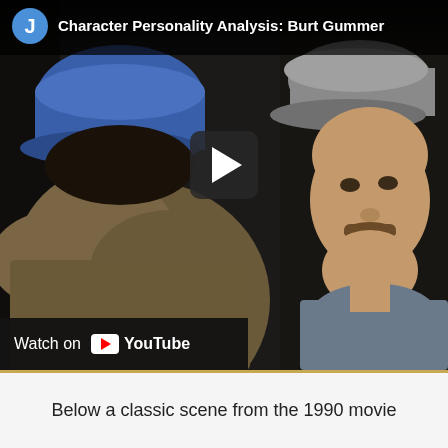[Figure (screenshot): YouTube video thumbnail showing a scene from a 1990 movie with two people wearing caps (one blue, one grey), with a dark video player interface. Header shows avatar 'J' and title 'Character Personality Analysis: Burt Gummer'. A play button is visible in the center. A 'Watch on YouTube' bar appears at the bottom left of the video.]
Below a classic scene from the 1990 movie